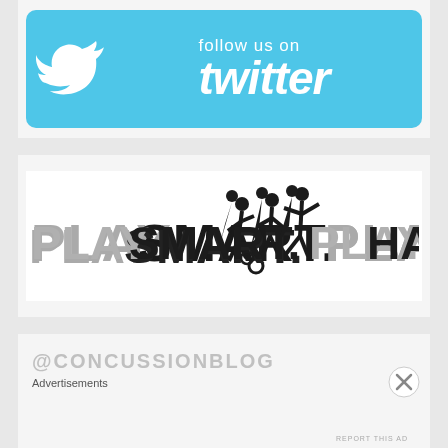[Figure (logo): Follow us on Twitter banner with Twitter bird logo on light blue background]
[Figure (logo): Play Smart. Play Hard. logo with soccer player silhouettes in center]
@CONCUSSIONBLOG
Advertisements